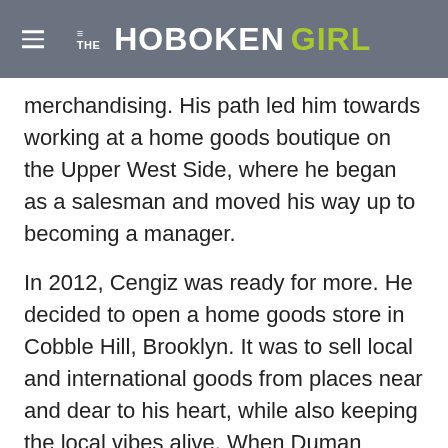THE HOBOKEN GIRL
merchandising. His path led him towards working at a home goods boutique on the Upper West Side, where he began as a salesman and moved his way up to becoming a manager.

In 2012, Cengiz was ready for more. He decided to open a home goods store in Cobble Hill, Brooklyn. It was to sell local and international goods from places near and dear to his heart, while also keeping the local vibes alive. When Duman Home opened in Brooklyn, he never could have imagined the outpouring support that he received from the community. The business grew and